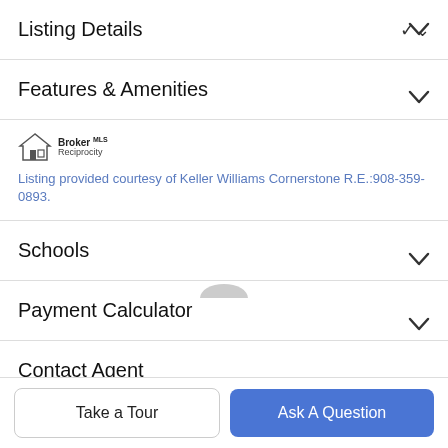Listing Details
Features & Amenities
[Figure (logo): Broker Reciprocity logo with house icon]
Listing provided courtesy of Keller Williams Cornerstone R.E.:908-359-0893.
Schools
Payment Calculator
Contact Agent
Take a Tour
Ask A Question